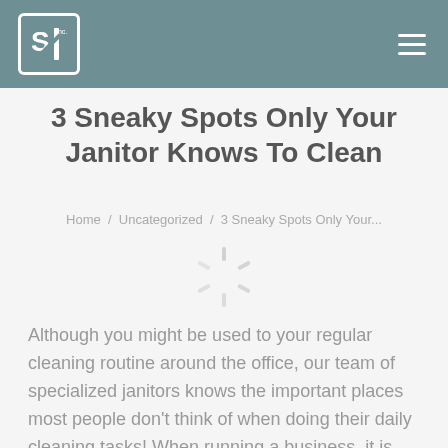SI Inc. [logo] [hamburger menu]
3 Sneaky Spots Only Your Janitor Knows To Clean
Home / Uncategorized / 3 Sneaky Spots Only Your...
[Figure (other): Loading spinner / ajax spinner icon]
Although you might be used to your regular cleaning routine around the office, our team of specialized janitors knows the important places most people don't think of when doing their daily cleaning tasks! When running a business, it is important to go that extra mile to take pride in your space and ensure that